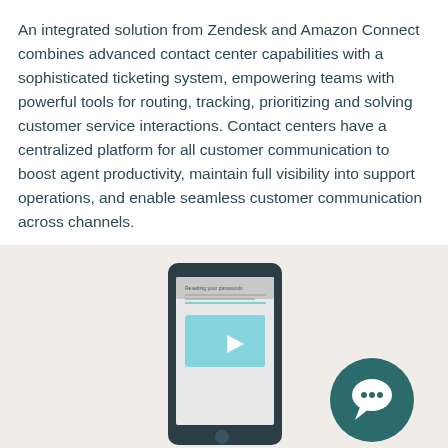An integrated solution from Zendesk and Amazon Connect combines advanced contact center capabilities with a sophisticated ticketing system, empowering teams with powerful tools for routing, tracking, prioritizing and solving customer service interactions. Contact centers have a centralized platform for all customer communication to boost agent productivity, maintain full visibility into support operations, and enable seamless customer communication across channels.
[Figure (illustration): A beige/cream colored panel showing a smartphone illustration in the center with a video player interface on screen (play button visible), and a teal circular chat bubble icon in the lower right area.]